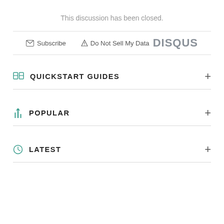This discussion has been closed.
Subscribe  Do Not Sell My Data  DISQUS
QUICKSTART GUIDES
POPULAR
LATEST